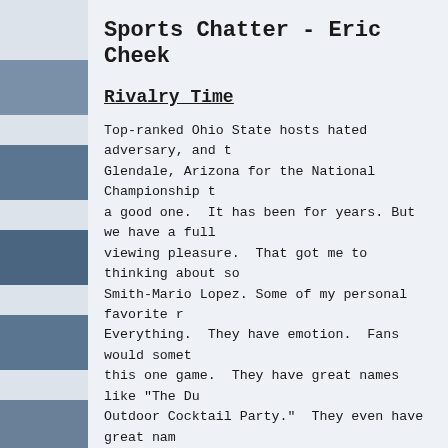Sports Chatter - Eric Cheek
Rivalry Time
Top-ranked Ohio State hosts hated adversary, and then heads to Glendale, Arizona for the National Championship t... a good one. It has been for years. But we have a full viewing pleasure. That got me to thinking about so... Smith-Mario Lopez. Some of my personal favorite r... Everything. They have emotion. Fans would somet... this one game. They have great names like "The Du... Outdoor Cocktail Party." They even have great nam... and the Beehive Boot. There are so many great gam... weekend: Best Name: The Backyard Brawl (West Vi... right now as I write this. That being said, this game toughest teams in the area to call your game this. W... Somebody watching this game has to confirm this: b... banned from sideline reporting duties. Let's pass thi... together.) Best Trophy: The Floyd of Rosedale (Iowa favorite for a couple reasons. First, it's a trophy wit...